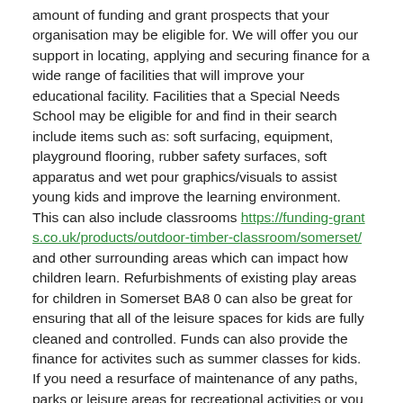amount of funding and grant prospects that your organisation may be eligible for. We will offer you our support in locating, applying and securing finance for a wide range of facilities that will improve your educational facility. Facilities that a Special Needs School may be eligible for and find in their search include items such as: soft surfacing, equipment, playground flooring, rubber safety surfaces, soft apparatus and wet pour graphics/visuals to assist young kids and improve the learning environment. This can also include classrooms https://funding-grants.co.uk/products/outdoor-timber-classroom/somerset/ and other surrounding areas which can impact how children learn. Refurbishments of existing play areas for children in Somerset BA8 0 can also be great for ensuring that all of the leisure spaces for kids are fully cleaned and controlled. Funds can also provide the finance for activites such as summer classes for kids. If you need a resurface of maintenance of any paths, parks or leisure areas for recreational activities or you need an installation of artificial grass pitch, football turf, leisure lawn, netball court, tennis court, basketball court, synthetic turf, 5 a side astroturf pitches, then funding should always be a considerable option. This is because the funding will allow you to